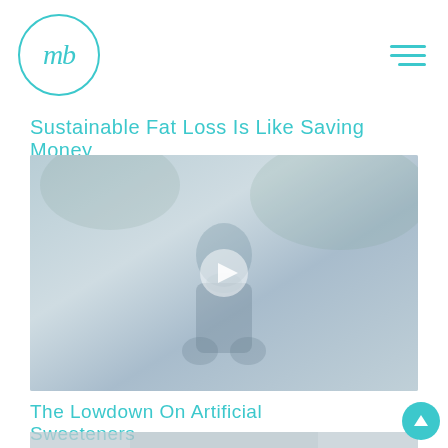mb logo with hamburger menu
Sustainable Fat Loss Is Like Saving Money
[Figure (photo): Video thumbnail showing a person sitting outdoors with a play button overlay]
The Lowdown On Artificial Sweeteners
[Figure (photo): Partially visible thumbnail image at the bottom of the page]